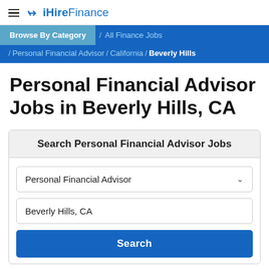≡ ✕ iHireFinance
Browse By Category / All Finance Jobs / Personal Financial Advisor / California / Beverly Hills
Personal Financial Advisor Jobs in Beverly Hills, CA
Search Personal Financial Advisor Jobs
Personal Financial Advisor
Beverly Hills, CA
Search